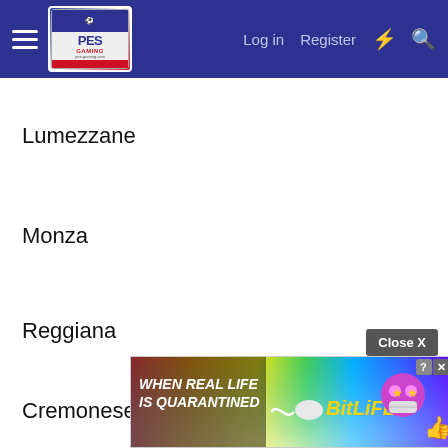PES Gaming — Log in  Register
Lumezzane
Monza
Reggiana
Cremonese
Cubbio
[Figure (screenshot): BitLife advertisement banner: 'When Real Life Is Quarantined' with BitLife logo and emoji characters]
Close X